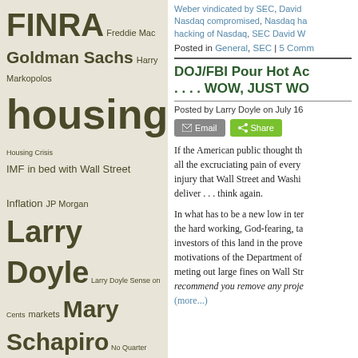[Figure (infographic): Tag cloud on beige/olive background with finance-related terms in varying sizes: FINRA (large), Freddie Mac, Goldman Sachs, Harry Markopolos, housing (very large), Housing Crisis, IMF, in bed with Wall Street, Inflation, JP Morgan, Larry Doyle (huge), Larry Doyle Sense on Cents, markets, Mary Schapiro (large), No Quarter Radio, Obama Administration, POGO, project on Government Oversight, quantitative easing, regulatory capture, SEC (large), Sense on Cents (very large), Sense on Cents Hall of Fame, Sheila Bair, Tim Geithner (large), Unemployment, Wall Street (large), Wall Street-Washington incest (large), Wall Street regulation]
Weber vindicated by SEC, David... Nasdaq compromised, Nasdaq ha... hacking of Nasdaq, SEC David W...
Posted in General, SEC | 5 Comm...
DOJ/FBI Pour Hot Ac... . . . . WOW, JUST WO...
Posted by Larry Doyle on July 16...
If the American public thought th... all the excruciating pain of every... injury that Wall Street and Washi... deliver . . . think again.
In what has to be a new low in ter... the hard working, God-fearing, ta... investors of this land in the prove... motivations of the Department of... meting out large fines on Wall Str... recommend you remove any proje... (more...)